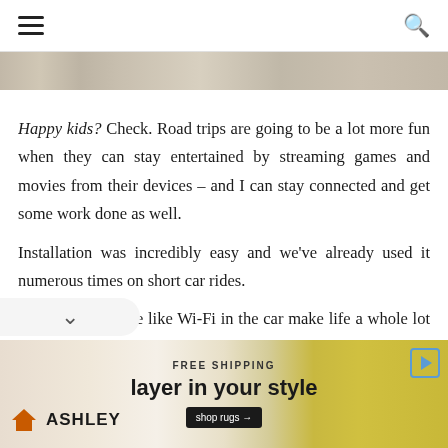☰ [menu] [search]
[Figure (photo): Partial horizontal image strip, appears to be a landscape or outdoor scene, cropped at top]
Happy kids? Check. Road trips are going to be a lot more fun when they can stay entertained by streaming games and movies from their devices – and I can stay connected and get some work done as well.
Installation was incredibly easy and we've already used it numerous times on short car rides.
Little things in life like Wi-Fi in the car make life a whole lot easier.
[Figure (infographic): Ashley Furniture advertisement banner: FREE SHIPPING, 'layer in your style', shop rugs button, Ashley logo with house icon, yellow/map background]